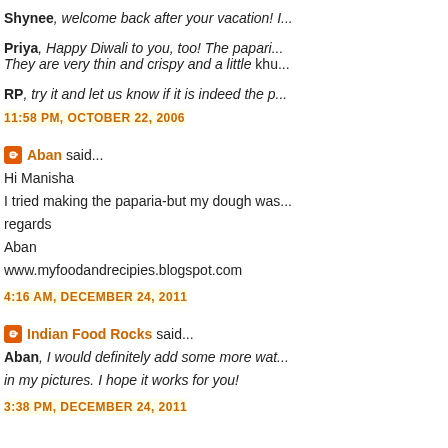Shynee, welcome back after your vacation! I...
Priya, Happy Diwali to you, too! The papari... They are very thin and crispy and a little khu...
RP, try it and let us know if it is indeed the p...
11:58 PM, OCTOBER 22, 2006
Aban said... Hi Manisha I tried making the paparia-but my dough was... regards Aban www.myfoodandrecipies.blogspot.com
4:16 AM, DECEMBER 24, 2011
Indian Food Rocks said... Aban, I would definitely add some more wat... in my pictures. I hope it works for you!
3:38 PM, DECEMBER 24, 2011